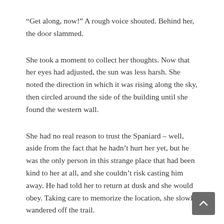“Get along, now!” A rough voice shouted. Behind her, the door slammed.
She took a moment to collect her thoughts. Now that her eyes had adjusted, the sun was less harsh. She noted the direction in which it was rising along the sky, then circled around the side of the building until she found the western wall.
She had no real reason to trust the Spaniard – well, aside from the fact that he hadn’t hurt her yet, but he was the only person in this strange place that had been kind to her at all, and she couldn’t risk casting him away. He had told her to return at dusk and she would obey. Taking care to memorize the location, she slowly wandered off the trail.